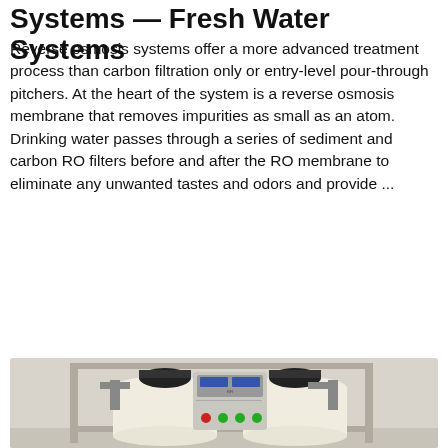Systems — Fresh Water Systems
Reverse osmosis systems offer a more advanced treatment process than carbon filtration only or entry-level pour-through pitchers. At the heart of the system is a reverse osmosis membrane that removes impurities as small as an atom. Drinking water passes through a series of sediment and carbon RO filters before and after the RO membrane to eliminate any unwanted tastes and odors and provide ...
Get Price
[Figure (photo): Industrial reverse osmosis water treatment system with two large white filter tanks, black valve heads, and a central metal control panel with display screens and indicator lights, mounted on a metal frame in an indoor setting.]